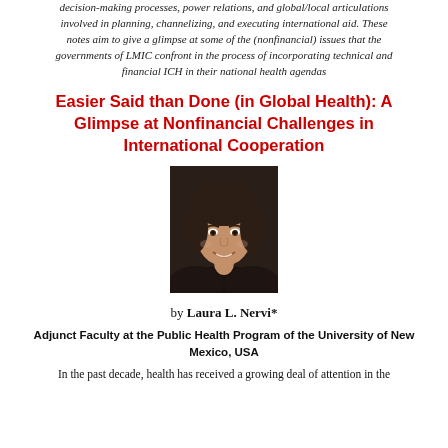decision-making processes, power relations, and global/local articulations involved in planning, channelizing, and executing international aid.  These notes aim to give a glimpse at some of the (nonfinancial) issues that the governments of LMIC confront in the process of incorporating technical and financial ICH in their national health agendas
Easier Said than Done (in Global Health): A Glimpse at Nonfinancial Challenges in International Cooperation
[Figure (photo): Headshot photo of Laura L. Nervi, a woman with dark hair, smiling]
by Laura L. Nervi*
Adjunct Faculty at the Public Health Program of the University of New Mexico, USA
In the past decade, health has received a growing deal of attention in the